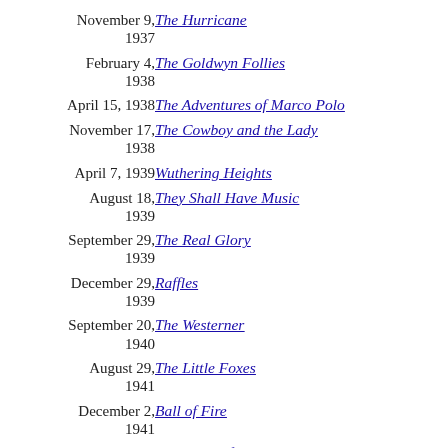| Date | Film |
| --- | --- |
| November 9, 1937 | The Hurricane |
| February 4, 1938 | The Goldwyn Follies |
| April 15, 1938 | The Adventures of Marco Polo |
| November 17, 1938 | The Cowboy and the Lady |
| April 7, 1939 | Wuthering Heights |
| August 18, 1939 | They Shall Have Music |
| September 29, 1939 | The Real Glory |
| December 29, 1939 | Raffles |
| September 20, 1940 | The Westerner |
| August 29, 1941 | The Little Foxes |
| December 2, 1941 | Ball of Fire |
| July 14, 1942 | The Pride of the Yankees |